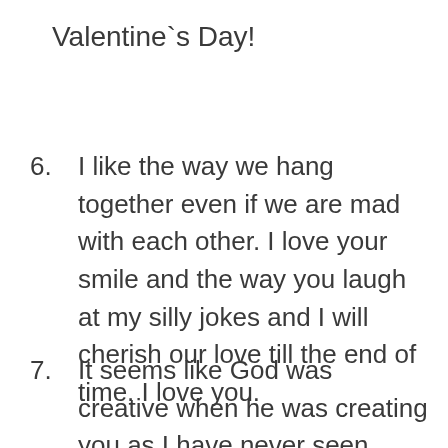Valentine`s Day!
6. I like the way we hang together even if we are mad with each other. I love your smile and the way you laugh at my silly jokes and I will cherish our love till the end of time. I love you.
7. It seems like God was creative when he was creating you as I have never seen